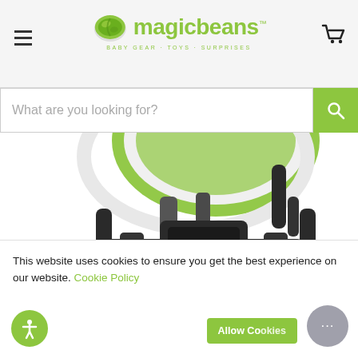Magic Beans - BABY GEAR · TOYS · SURPRISES
[Figure (screenshot): Magic Beans website header with hamburger menu, green bean logo, brand name 'magic beans', tagline 'BABY GEAR · TOYS · SURPRISES', and shopping cart icon]
[Figure (screenshot): Search bar with placeholder text 'What are you looking for?' and green search button]
[Figure (photo): Partial product photo showing the base/undercarriage of a baby high chair with green and white seat top, black plastic base with footrest]
This website uses cookies to ensure you get the best experience on our website. Cookie Policy
[Figure (screenshot): Cookie consent UI with 'Allow Cookies' green button, gray circular chat bubble icon, and green circular accessibility icon]